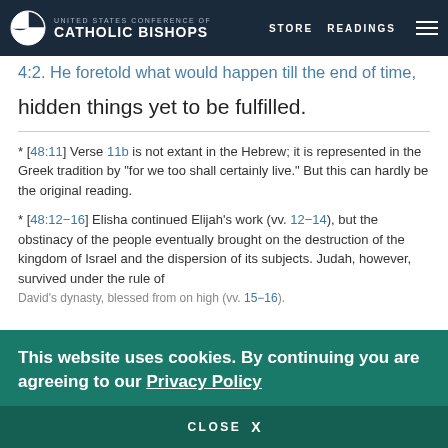UNITED STATES CONFERENCE OF CATHOLIC BISHOPS | STORE | READINGS
4:2. He foretold what would happen till the end of time,
hidden things yet to be fulfilled.
* [48:11] Verse 11b is not extant in the Hebrew; it is represented in the Greek tradition by “for we too shall certainly live.” But this can hardly be the original reading.
* [48:12–16] Elisha continued Elijah’s work (vv. 12–14), but the obstinacy of the people eventually brought on the destruction of the kingdom of Israel and the dispersion of its subjects. Judah, however, survived under the rule of David’s dynasty, blessed from on high (vv. 15–16).
This website uses cookies. By continuing you are agreeing to our Privacy Policy
CLOSE X